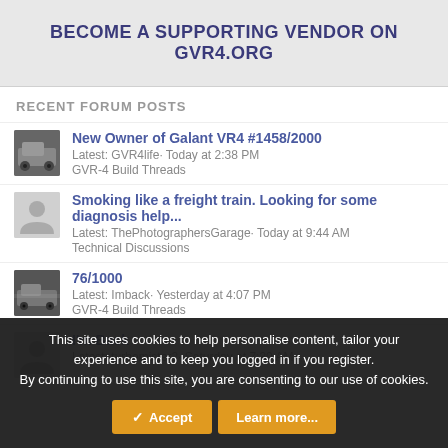BECOME A SUPPORTING VENDOR ON GVR4.ORG
RECENT FORUM POSTS
New Owner of Galant VR4 #1458/2000
Latest: GVR4life· Today at 2:38 PM
GVR-4 Build Threads
Smoking like a freight train. Looking for some diagnosis help...
Latest: ThePhotographersGarage· Today at 9:44 AM
Technical Discussions
76/1000
Latest: Imback· Yesterday at 4:07 PM
GVR-4 Build Threads
I'm Back
Latest: turbomister2· Saturday at 7:30 AM
This site uses cookies to help personalise content, tailor your experience and to keep you logged in if you register.
By continuing to use this site, you are consenting to our use of cookies.